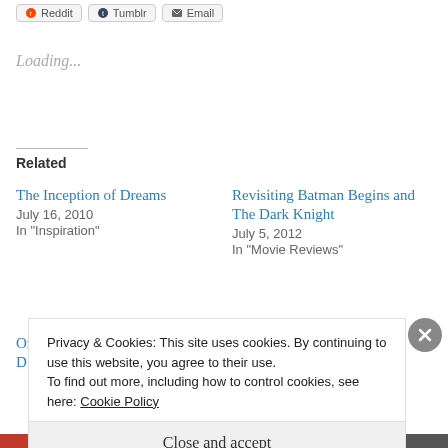Reddit | Tumblr | Email
Loading...
Related
The Inception of Dreams
July 16, 2010
In "Inspiration"
Revisiting Batman Begins and The Dark Knight
July 5, 2012
In "Movie Reviews"
Orphans, Terrorism and D...
Privacy & Cookies: This site uses cookies. By continuing to use this website, you agree to their use.
To find out more, including how to control cookies, see here: Cookie Policy
Close and accept